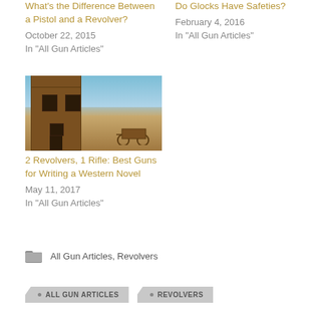What's the Difference Between a Pistol and a Revolver?
October 22, 2015
In "All Gun Articles"
Do Glocks Have Safeties?
February 4, 2016
In "All Gun Articles"
[Figure (photo): Old wooden western building / ghost town structure with blue sky and arid landscape in background, with an old wagon visible to the right]
2 Revolvers, 1 Rifle: Best Guns for Writing a Western Novel
May 11, 2017
In "All Gun Articles"
All Gun Articles, Revolvers
ALL GUN ARTICLES
REVOLVERS